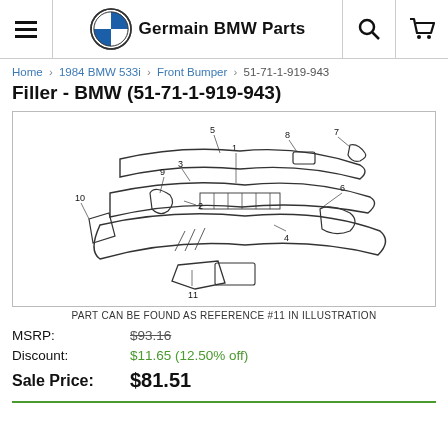Germain BMW Parts
Home > 1984 BMW 533i > Front Bumper > 51-71-1-919-943
Filler - BMW (51-71-1-919-943)
[Figure (engineering-diagram): Exploded parts diagram of BMW 1984 533i Front Bumper assembly. Parts labeled with reference numbers 1 through 11. Reference #11 is indicated at bottom as the Filler part.]
PART CAN BE FOUND AS REFERENCE #11 IN ILLUSTRATION
| MSRP: | $93.16 |
| Discount: | $11.65 (12.50% off) |
| Sale Price: | $81.51 |